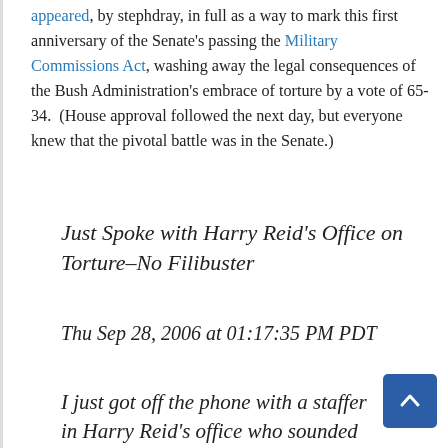appeared, by stephdray, in full as a way to mark this first anniversary of the Senate's passing the Military Commissions Act, washing away the legal consequences of the Bush Administration's embrace of torture by a vote of 65-34. (House approval followed the next day, but everyone knew that the pivotal battle was in the Senate.)
Just Spoke with Harry Reid's Office on Torture–No Filibuster
Thu Sep 28, 2006 at 01:17:35 PM PDT
I just got off the phone with a staffer in Harry Reid's office who sounded